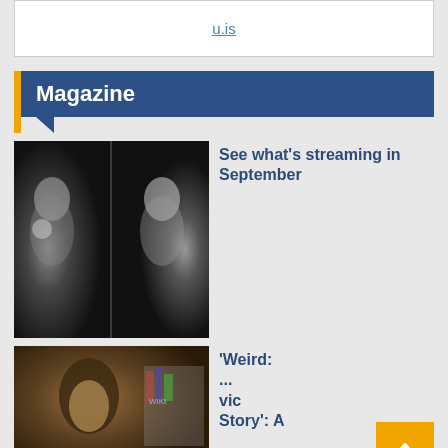u.is
Magazine
[Figure (photo): Black and white photo of a woman laughing, shown twice side by side (mirror or diptych effect)]
See what's streaming in September
[Figure (photo): Color photo of a person with curly hair indoors]
'Weird: ...vic Story': A